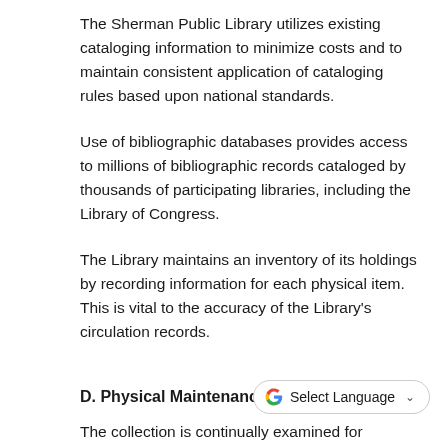The Sherman Public Library utilizes existing cataloging information to minimize costs and to maintain consistent application of cataloging rules based upon national standards.
Use of bibliographic databases provides access to millions of bibliographic records cataloged by thousands of participating libraries, including the Library of Congress.
The Library maintains an inventory of its holdings by recording information for each physical item. This is vital to the accuracy of the Library's circulation records.
D. Physical Maintenance
The collection is continually examined for